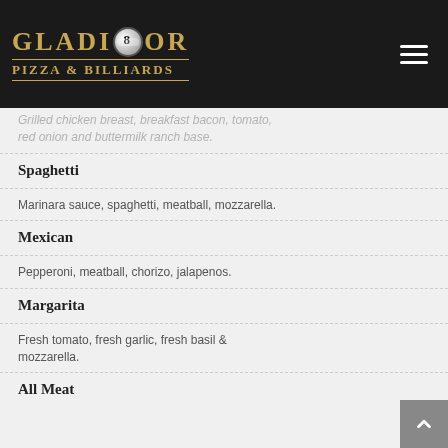[Figure (logo): Gladiator Pizza & Billiards logo with golden text and 8-ball graphic on dark background]
Grilled chicken breast, breakfast bacon, tomato, red onion and buttermilk ranch base.
Spaghetti
Marinara sauce, spaghetti, meatball, mozzarella.
Mexican
Pepperoni, meatball, chorizo, jalapenos.
Margarita
Fresh tomato, fresh garlic, fresh basil & mozzarella.
All Meat